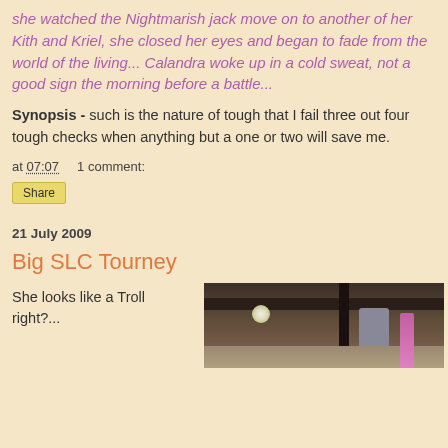she watched the Nightmarish jack move on to another of her Kith and Kriel, she closed her eyes and began to fade from the world of the living... Calandra woke up in a cold sweat, not a good sign the morning before a battle...
Synopsis - such is the nature of tough that I fail three out four tough checks when anything but a one or two will save me.
at 07:07     1 comment:
Share
21 July 2009
Big SLC Tourney
She looks like a Troll right?...
[Figure (photo): Indoor photo showing a dark ceiling/arena interior with a light fixture, a vertical pole or post, and what appears to be a pink object on the floor.]